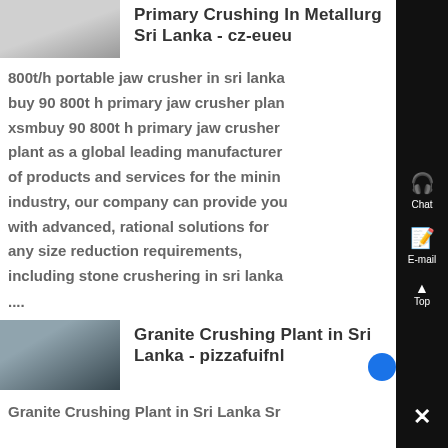Primary Crushing In Metallurg Sri Lanka - cz-eueu
[Figure (photo): Thumbnail image for Primary Crushing article]
800t/h portable jaw crusher in sri lanka buy 90 800t h primary jaw crusher plant xsmbuy 90 800t h primary jaw crusher plant as a global leading manufacturer of products and services for the mining industry, our company can provide you with advanced, rational solutions for any size reduction requirements, including stone crushering in sri lanka ....
Granite Crushing Plant in Sri Lanka - pizzafuifnl
[Figure (photo): Thumbnail image for Granite Crushing Plant article]
Granite Crushing Plant in Sri Lanka Sr